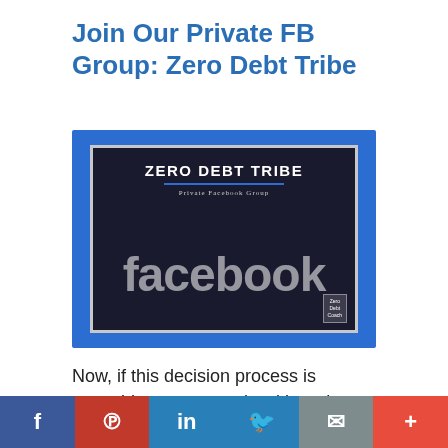Join Our Private FB Group: Zero Debt Tribe
[Figure (screenshot): Screenshot-style promotional image showing Facebook logo in background with overlay text 'ZERO DEBT TRIBE' and 'Private Facebook Group' on a dark panel, set against a blue background. A 'Zero Debt Coach' badge appears in the lower right.]
Now, if this decision process is something you struggle with and you constantly feel